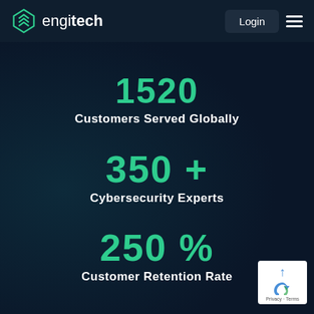engitech | Login
1520 Customers Served Globally
350+ Cybersecurity Experts
250% Customer Retention Rate